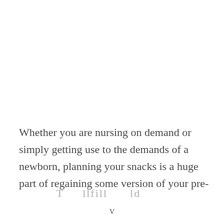Whether you are nursing on demand or simply getting use to the demands of a newborn, planning your snacks is a huge part of regaining some version of your pre-
- - - - T - - - llfill- - - - ld - - - -
V